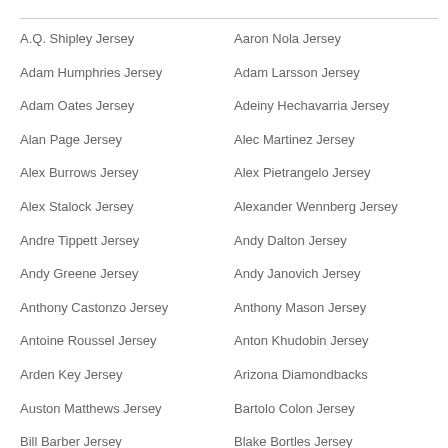A.Q. Shipley Jersey
Aaron Nola Jersey
Adam Humphries Jersey
Adam Larsson Jersey
Adam Oates Jersey
Adeiny Hechavarria Jersey
Alan Page Jersey
Alec Martinez Jersey
Alex Burrows Jersey
Alex Pietrangelo Jersey
Alex Stalock Jersey
Alexander Wennberg Jersey
Andre Tippett Jersey
Andy Dalton Jersey
Andy Greene Jersey
Andy Janovich Jersey
Anthony Castonzo Jersey
Anthony Mason Jersey
Antoine Roussel Jersey
Anton Khudobin Jersey
Arden Key Jersey
Arizona Diamondbacks
Auston Matthews Jersey
Bartolo Colon Jersey
Bill Barber Jersey
Blake Bortles Jersey
Blidi Wreh-Wilson Jersey
Bo Horvat Jersey